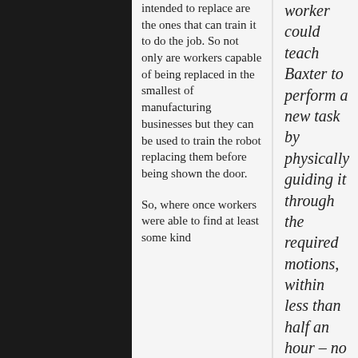intended to replace are the ones that can train it to do the job. So not only are workers capable of being replaced in the smallest of manufacturing businesses but they can be used to train the robot replacing them before being shown the door.
So, where once workers were able to find at least some kind
worker could teach Baxter to perform a new task by physically guiding it through the required motions, within less than half an hour – no code-writing required. Once ithas learned a task, it is said to be able to apply common sense to what it's doing.